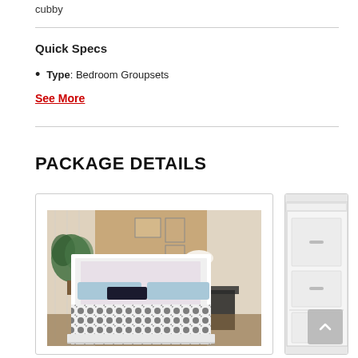cubby
Quick Specs
Type: Bedroom Groupsets
See More
PACKAGE DETAILS
[Figure (photo): Photo of a white bedroom set with an ornate black-and-white patterned bedspread, decorative pillows, a lamp, and a plant in a staged room setting.]
[Figure (photo): Partial photo of a white dresser or armoire, partially visible on the right side of the page.]